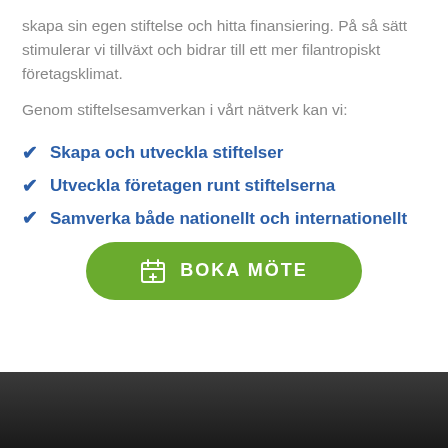skapa sin egen stiftelse och hitta finansiering. På så sätt stimulerar vi tillväxt och bidrar till ett mer filantropiskt företagsklimat.
Genom stiftelsesamverkan i vårt nätverk kan vi:
Skapa och utveckla stiftelser
Utveckla företagen runt stiftelserna
Samverka både nationellt och internationellt
[Figure (other): Green rounded button with calendar icon and text 'BOKA MÖTE']
[Figure (photo): Dark background photo section at bottom of page]